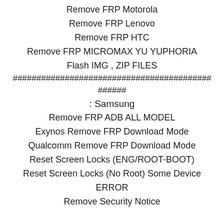Remove FRP Motorola
Remove FRP Lenovo
Remove FRP HTC
Remove FRP MICROMAX YU YUPHORIA
Flash IMG , ZIP FILES
##########################################
######
: Samsung
Remove FRP ADB ALL MODEL
Exynos Remove FRP Download Mode
Qualcomm Remove FRP Download Mode
Reset Screen Locks (ENG/ROOT-BOOT)
Reset Screen Locks (No Root) Some Device
ERROR
Remove Security Notice